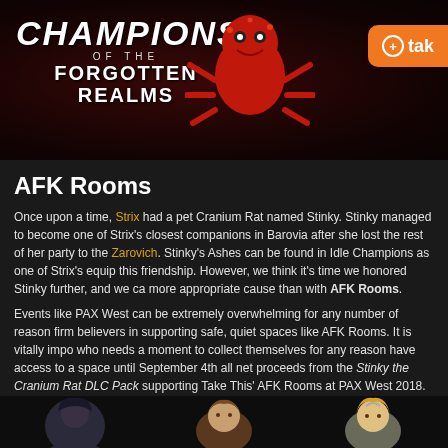[Figure (illustration): Champions of the Forgotten Realms game banner with red spider-like monster and Take This orange logo]
AFK Rooms
Once upon a time, Strix had a pet Cranium Rat named Stinky. Stinky managed to become one of Strix's closest companions in Barovia after she lost the rest of her party to the Zarovich. Stinky's Ashes can be found in Idle Champions as one of Strix's equip this friendship. However, we think it's time we honored Stinky further, and we ca more appropriate cause than with AFK Rooms.
Events like PAX West can be extremely overwhelming for any number of reason firm believers in supporting safe, quiet spaces like AFK Rooms. It is vitally impo who needs a moment to collect themselves for any reason have access to a space until September 4th all net proceeds from the Stinky the Cranium Rat DLC Pack supporting Take This' AFK Rooms at PAX West 2018.
You'll be able to purchase your own adorable Stinky the Cranium Rat Familiar, a starting on Friday August 24th on Steam, iPad, and Android Tablets! You can fim be found about AFK Rooms here, and you can also learn more about Take This c www.takethis.org.
[Figure (illustration): Character illustrations at the bottom of the page showing game characters]